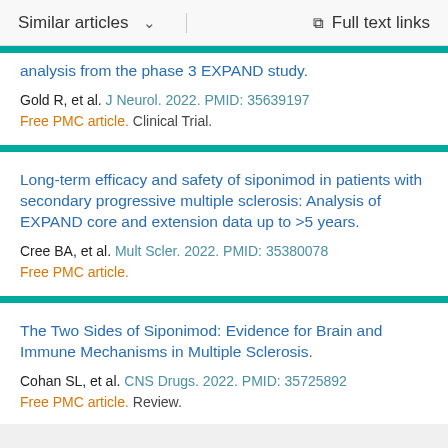Similar articles   Full text links
analysis from the phase 3 EXPAND study.
Gold R, et al. J Neurol. 2022. PMID: 35639197
Free PMC article. Clinical Trial.
Long-term efficacy and safety of siponimod in patients with secondary progressive multiple sclerosis: Analysis of EXPAND core and extension data up to >5 years.
Cree BA, et al. Mult Scler. 2022. PMID: 35380078
Free PMC article.
The Two Sides of Siponimod: Evidence for Brain and Immune Mechanisms in Multiple Sclerosis.
Cohan SL, et al. CNS Drugs. 2022. PMID: 35725892
Free PMC article. Review.